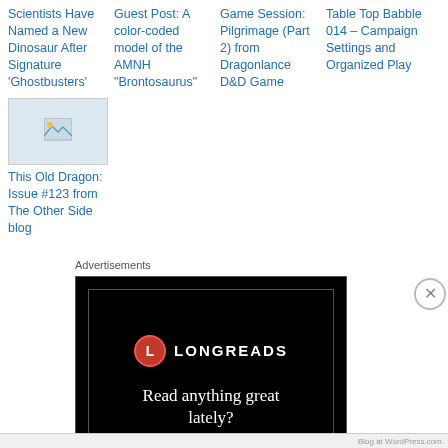Scientists Have Named a New Dinosaur After Signature 'Ghostbusters'
Guest Post: A color-coded model of the AMNH "Brontosaurus"
Game Session: Pilgrimage (Part 2) from Dragonlance D&D Game
Table Top Babble 014 – Campaign Settings and Organized Play
[Figure (screenshot): Broken image placeholder thumbnail]
This Old Dragon: Issue #123 from The Other Side blog
Advertisements
[Figure (screenshot): Longreads advertisement with black background, red circle L logo, and text 'Read anything great lately?']
Advertisements
[Figure (screenshot): Bloomingdales advertisement: 'bloomingdales - View Today's Top Deals!' with SHOP NOW button and woman in hat]